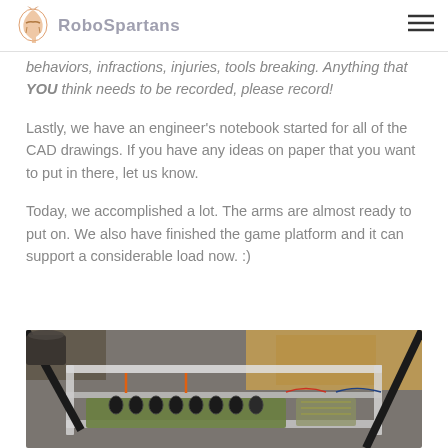RoboSpartans
behaviors, infractions, injuries, tools breaking. Anything that YOU think needs to be recorded, please record!
Lastly, we have an engineer's notebook started for all of the CAD drawings. If you have any ideas on paper that you want to put in there, let us know.
Today, we accomplished a lot. The arms are almost ready to put on. We also have finished the game platform and it can support a considerable load now. :)
[Figure (photo): Top-down view of a robotics platform frame made of clear acrylic/aluminum with electronic components, capacitors, and wiring visible inside the frame, placed on a classroom floor.]